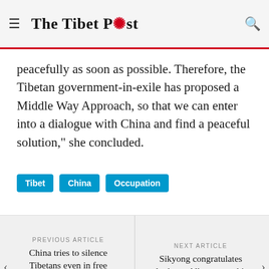The Tibet Post
peacefully as soon as possible. Therefore, the Tibetan government-in-exile has proposed a Middle Way Approach, so that we can enter into a dialogue with China and find a peaceful solution," she concluded.
Tibet
China
Occupation
PREVIOUS ARTICLE
China tries to silence Tibetans even in free countries: Activist Chemi Lhamo
NEXT ARTICLE
Sikyong congratulates Anthony Albanese on his election as PM of Australia